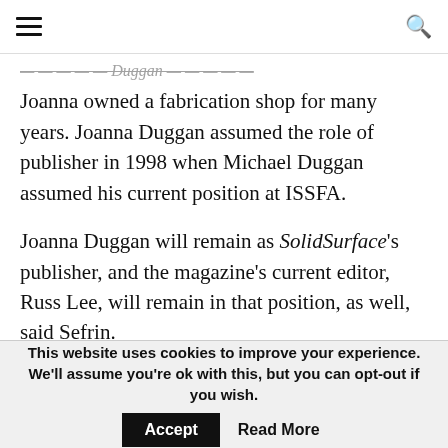[hamburger menu icon] [search icon]
Joanna owned a fabrication shop for many years. Joanna Duggan assumed the role of publisher in 1998 when Michael Duggan assumed his current position at ISSFA.
Joanna Duggan will remain as SolidSurface's publisher, and the magazine's current editor, Russ Lee, will remain in that position, as well, said Sefrin.
“The solid surface category is probably the fastest-growing segment of the surfacing market,” said
This website uses cookies to improve your experience. We'll assume you're ok with this, but you can opt-out if you wish. Accept Read More